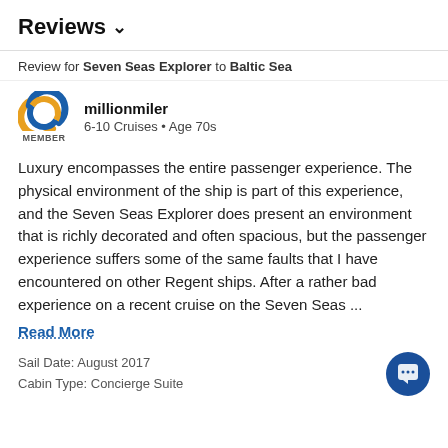Reviews ∨
Review for Seven Seas Explorer to Baltic Sea
[Figure (logo): Cruise critic logo — a stylized C shape with blue and gold/orange gradient arc, with MEMBER label below]
millionmiler
6-10 Cruises • Age 70s
Luxury encompasses the entire passenger experience. The physical environment of the ship is part of this experience, and the Seven Seas Explorer does present an environment that is richly decorated and often spacious, but the passenger experience suffers some of the same faults that I have encountered on other Regent ships. After a rather bad experience on a recent cruise on the Seven Seas ...
Read More
Sail Date: August 2017
Cabin Type: Concierge Suite